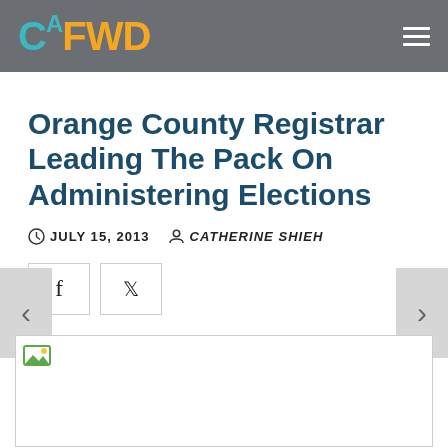CAFWD
Orange County Registrar Leading The Pack On Administering Elections
JULY 15, 2013  CATHERINE SHIEH
[Figure (photo): Article image placeholder with broken image icon in top-left corner]